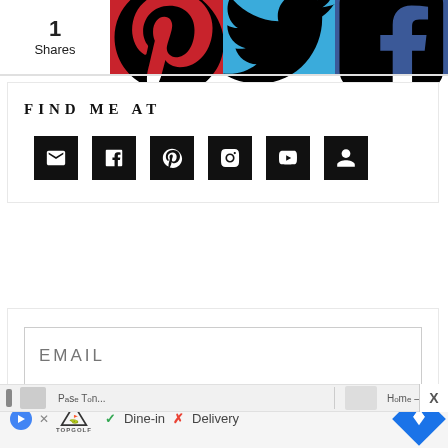[Figure (screenshot): Social share bar with share count (1 Shares), Pinterest button (red), Twitter button (blue), Facebook button (dark blue)]
FIND ME AT
[Figure (infographic): Row of 6 black social media icon boxes: email/envelope, Facebook, Pinterest, Instagram, YouTube, and a profile/person icon]
[Figure (screenshot): Email signup form with EMAIL input field and SUBMIT button]
[Figure (screenshot): Browser navigation bar with page thumbnails]
[Figure (screenshot): Advertisement bar: TopGolf logo with play icon, Dine-in checkmark, Delivery X mark, and blue navigation diamond button]